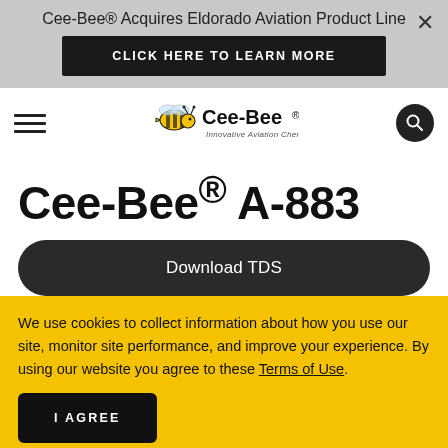Cee-Bee® Acquires Eldorado Aviation Product Line
CLICK HERE TO LEARN MORE
[Figure (logo): Cee-Bee Innovative Aviation Chemistry logo with bee illustration]
Cee-Bee® A-883
Download TDS
We use cookies to collect information about how you use our site, monitor site performance, and improve your experience. By using our website you agree to these Terms of Use.
I AGREE